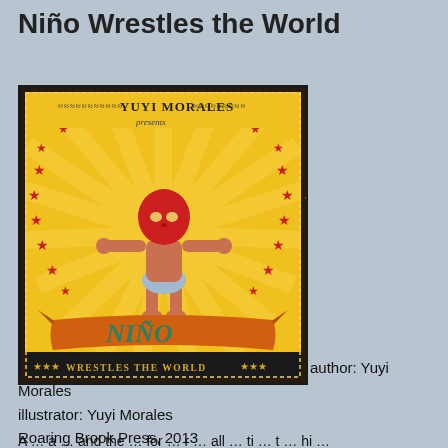Niño Wrestles the World
[Figure (illustration): Book cover of 'Niño Wrestles the World' by Yuyi Morales, showing a baby in a wrestling mask and diaper striking a triumphant pose, surrounded by red stars on a yellow sunburst background with orange banner reading NIÑO WRESTLES THE WORLD]
author: Yuyi Morales
illlustrator: Yuyi Morales
Roaring Brook Press, 2013
preschool-up
Mexican
A … a … and the … for … r … all … ti … t … hi …